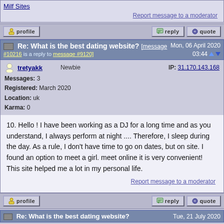Milf Sites
Report message to a moderator
[Figure (screenshot): Forum action buttons: profile, reply, quote]
Re: What is the best dating website? [message #10216 is a reply to message #9120] Mon, 06 April 2020 03:44
tretyakk  Newbie  IP: 31.170.143.168
Messages: 3
Registered: March 2020
Location: uk
Karma: 0
10. Hello ! I have been working as a DJ for a long time and as you understand, I always perform at night .... Therefore, I sleep during the day. As a rule, I don't have time to go on dates, but on site. I found an option to meet a girl. meet online it is very convenient! This site helped me a lot in my personal life.
Report message to a moderator
[Figure (screenshot): Forum action buttons: profile, reply, quote]
Re: What is the best dating website?  Tue, 21 July 2020